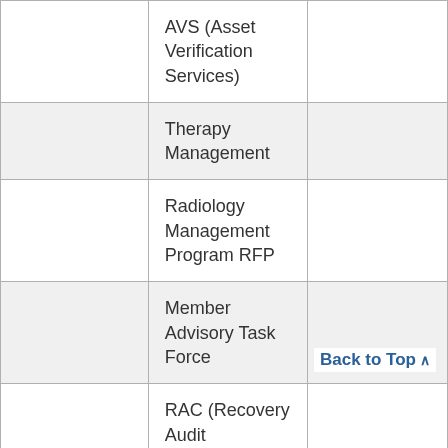|  | AVS (Asset Verification Services) |  |
|  | Therapy Management |  |
|  | Radiology Management Program RFP |  |
|  | Member Advisory Task Force |  |
|  | RAC (Recovery Audit |  |